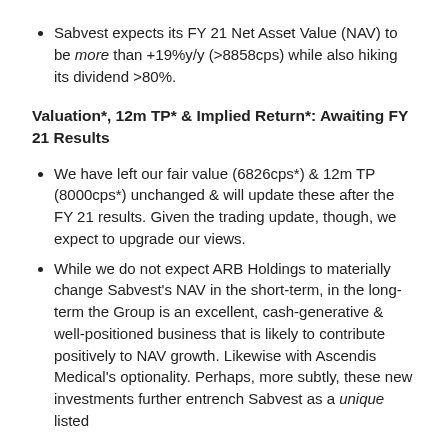Sabvest expects its FY 21 Net Asset Value (NAV) to be more than +19%y/y (>8858cps) while also hiking its dividend >80%.
Valuation*, 12m TP* & Implied Return*: Awaiting FY 21 Results
We have left our fair value (6826cps*) & 12m TP (8000cps*) unchanged & will update these after the FY 21 results. Given the trading update, though, we expect to upgrade our views.
While we do not expect ARB Holdings to materially change Sabvest's NAV in the short-term, in the long-term the Group is an excellent, cash-generative & well-positioned business that is likely to contribute positively to NAV growth. Likewise with Ascendis Medical's optionality. Perhaps, more subtly, these new investments further entrench Sabvest as a unique listed